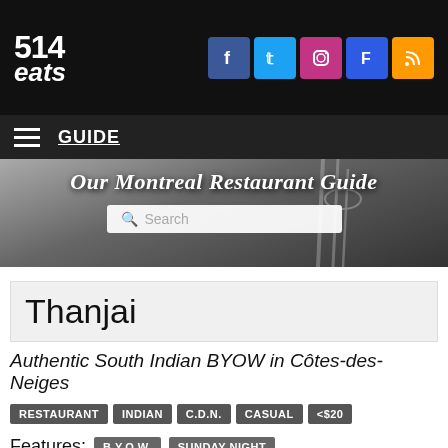514 eats
GUIDE
[Figure (screenshot): Hero banner with blurred restaurant table/cutlery background, italic heading 'Our Montreal Restaurant Guide' and a search box]
Thanjai
Authentic South Indian BYOW in Côtes-des-Neiges
RESTAURANT  INDIAN  C.D.N.  CASUAL  <$20
Features:  B.Y.O.W.  SUNDAY NIGHT
SHARE  TWEET